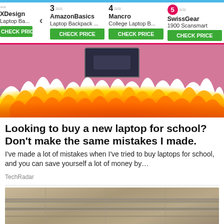[Figure (screenshot): Product comparison strip showing items 3 (AmazonBasics Laptop Backpack), 4 (Mancro College Laptop B...), and 5 (SwissGear 1900 Scansmart) with CHECK PRICE buttons and navigation arrow on left. Item 5 is highlighted with a pink circle.]
[Figure (photo): Article hero image showing a laptop on a pink/purple background with flames at the bottom, for an article about buying laptops for school.]
Looking to buy a new laptop for school? Don't make the same mistakes I made.
I've made a lot of mistakes when I've tried to buy laptops for school, and you can save yourself a lot of money by…
TechRadar
[Figure (photo): Partial image showing what appears to be a ceiling or duct/vent area, beige/tan colored with metal tracks or rails visible.]